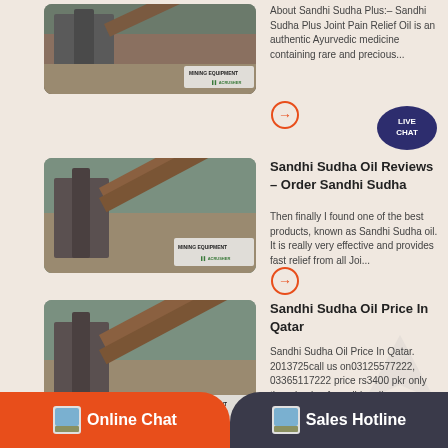[Figure (photo): Mining equipment conveyor at industrial site with MINING EQUIPMENT ACRUSHER branding]
About Sandhi Sudha Plus:– Sandhi Sudha Plus Joint Pain Relief Oil is an authentic Ayurvedic medicine containing rare and precious...
[Figure (other): Orange circle arrow button]
[Figure (other): Live Chat speech bubble badge]
[Figure (photo): Mining equipment conveyor at industrial site with MINING EQUIPMENT ACRUSHER branding]
Sandhi Sudha Oil Reviews – Order Sandhi Sudha
Then finally I found one of the best products, known as Sandhi Sudha oil. It is really very effective and provides fast relief from all Joi...
[Figure (other): Orange circle arrow button]
[Figure (photo): Mining equipment conveyor at industrial site with MINING EQUIPMENT ACRUSHER branding]
Sandhi Sudha Oil Price In Qatar
Sandhi Sudha Oil Price In Qatar. 2013725call us on03125577222, 03365117222 price rs3400 pkr only the miracle of sandhi sudha...
[Figure (other): Orange circle arrow button]
Online Chat
Sales Hotline